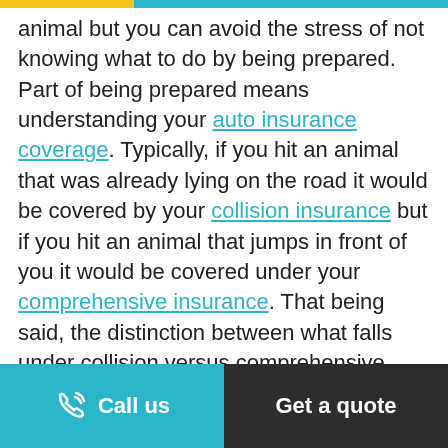animal but you can avoid the stress of not knowing what to do by being prepared. Part of being prepared means understanding your auto insurance coverage. Typically, if you hit an animal that was already lying on the road it would be covered by your collision insurance but if you hit an animal that jumps in front of you it would be covered under your comprehensive insurance. That being said, the distinction between what falls under collision versus comprehensive coverage can vary between insurance providers and best to contact your BrokerLink broker to
Call us | Get a quote